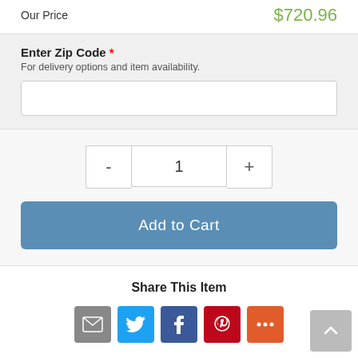Our Price   $720.96
Enter Zip Code *
For delivery options and item availability.
1
Add to Cart
Share This Item
[Figure (infographic): Social share icons: email (grey), Twitter (blue), Facebook (dark blue), Pinterest (red), More (orange)]